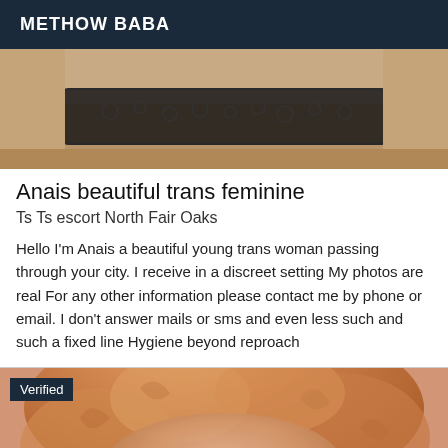METHOW BABA
[Figure (photo): Close-up photo of person wearing black lace lingerie]
Anais beautiful trans feminine
Ts Ts escort North Fair Oaks
Hello I'm Anais a beautiful young trans woman passing through your city. I receive in a discreet setting My photos are real For any other information please contact me by phone or email. I don't answer mails or sms and even less such and such a fixed line Hygiene beyond reproach
[Figure (photo): Close-up photo of person with curly reddish-blonde hair, with a 'Verified' badge overlay]